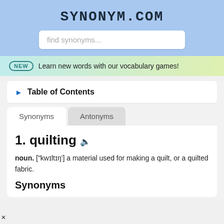SYNONYM.COM
find synonyms...
NEW  Learn new words with our vocabulary games!
Table of Contents
Synonyms   Antonyms
1. quilting
noun. ["kwɪltɪŋ'] a material used for making a quilt, or a quilted fabric.
Synonyms